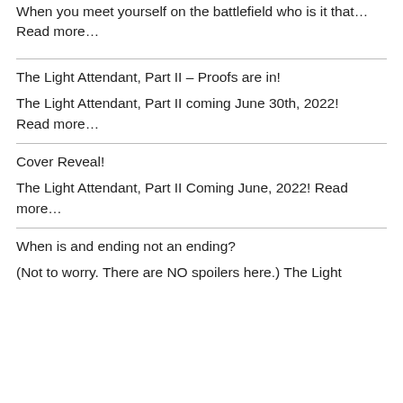The Light Attendant. Part II Coming June 30th, 2022 When you meet yourself on the battlefield who is it that… Read more…
The Light Attendant, Part II – Proofs are in!
The Light Attendant, Part II coming June 30th, 2022! Read more…
Cover Reveal!
The Light Attendant, Part II Coming June, 2022! Read more…
When is and ending not an ending?
(Not to worry. There are NO spoilers here.) The Light